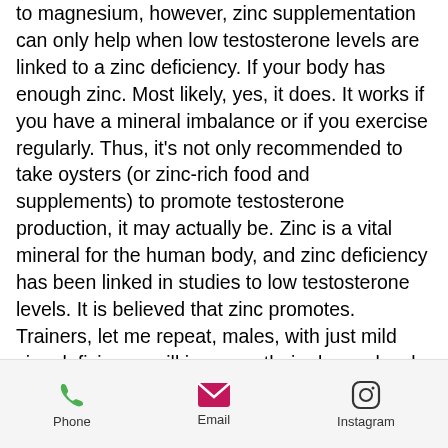to magnesium, however, zinc supplementation can only help when low testosterone levels are linked to a zinc deficiency. If your body has enough zinc. Most likely, yes, it does. It works if you have a mineral imbalance or if you exercise regularly. Thus, it's not only recommended to take oysters (or zinc-rich food and supplements) to promote testosterone production, it may actually be. Zinc is a vital mineral for the human body, and zinc deficiency has been linked in studies to low testosterone levels. It is believed that zinc promotes. Trainers, let me repeat, males, with just mild zinc deficiency, will increase their plasma levels of testosterone with supplementation! this is a clearly proven. Like every other hormone, maintaining proper testosterone levels takes work. So,
Phone   Email   Instagram